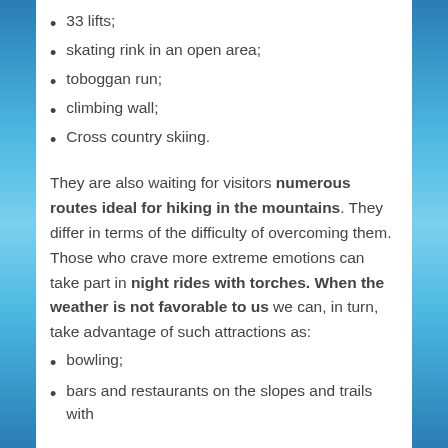33 lifts;
skating rink in an open area;
toboggan run;
climbing wall;
Cross country skiing.
They are also waiting for visitors numerous routes ideal for hiking in the mountains. They differ in terms of the difficulty of overcoming them. Those who crave more extreme emotions can take part in night rides with torches. When the weather is not favorable to us we can, in turn, take advantage of such attractions as:
bowling;
bars and restaurants on the slopes and trails with